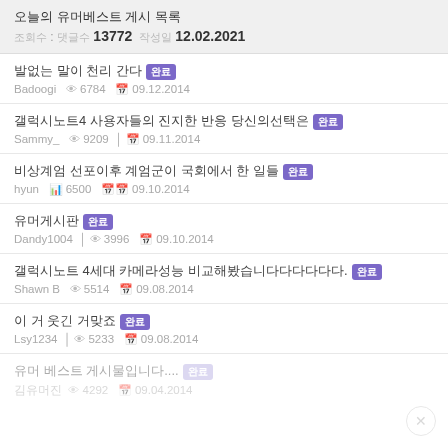오늘의 유머베스트 게시 목록 | 조회수 : 댓글수 13772 | 작성일 12.02.2021
발없는 말이 천리 간다 완료 | Badoogi | 조회수 6784 | 작성일 09.12.2014
갤럭시노트4 사용자들의 진지한 반응 당신의선택은 완료 | Sammy_ | 조회수 9209 | 작성일 09.11.2014
비상계엄 선포이후 계엄군이 국회에서 한 일들 완료 | hyun | 조회수 6500 | 작성일 09.10.2014
유머게시판 완료 | Dandy1004 | 조회수 3996 | 작성일 09.10.2014
갤럭시노트 4세대 카메라성능 비교해봤습니다다다다다다. 완료 | Shawn B | 조회수 5514 | 작성일 09.08.2014
이 거 웃긴 거맞죠 완료 | Lsy1234 | 조회수 5233 | 작성일 09.08.2014
유머 베스트 게시물입니다.... 완료 | 김유머진 | 조회수 4292 | 작성일 09.04.2014